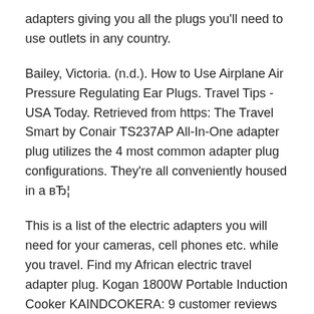adapters giving you all the plugs you'll need to use outlets in any country.
Bailey, Victoria. (n.d.). How to Use Airplane Air Pressure Regulating Ear Plugs. Travel Tips - USA Today. Retrieved from https: The Travel Smart by Conair TS237AP All-In-One adapter plug utilizes the 4 most common adapter plug configurations. They're all conveniently housed in a вЂ¦
This is a list of the electric adapters you will need for your cameras, cell phones etc. while you travel. Find my African electric travel adapter plug. Kogan 1800W Portable Induction Cooker KAINDCOKERA: 9 customer reviews on Australia's largest opinion site ProductReview.com.au. 3.4 out of 5 stars for Kogan вЂ¦
Kogan's 4K TV, though, Kogan Agora 4K Smart 3D LED TV: